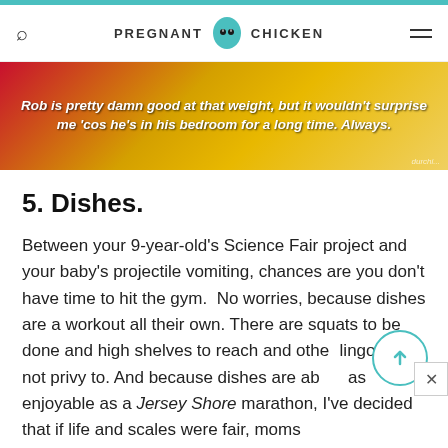PREGNANT CHICKEN
[Figure (photo): Banner image with colorful background (red/gold gradient) showing a person, with overlaid italic bold white text: "Rob is pretty damn good at that weight, but it wouldn't surprise me 'cos he's in his bedroom for a long time. Always."]
5. Dishes.
Between your 9-year-old’s Science Fair project and your baby’s projectile vomiting, chances are you don’t have time to hit the gym.  No worries, because dishes are a workout all their own. There are squats to be done and high shelves to reach and other lingo I am not privy to. And because dishes are about as enjoyable as a Jersey Shore marathon, I’ve decided that if life and scales were fair, moms everywhere would lose 2 pounds per load. An additional pound would be subtracted for each dish
durchi...